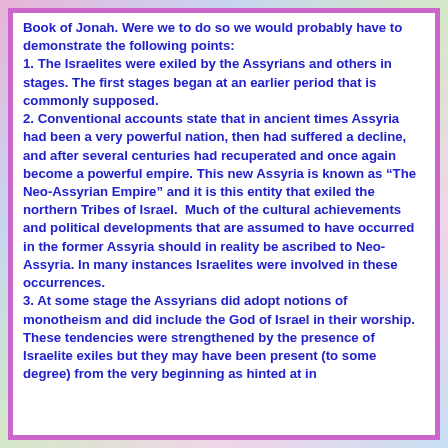Book of Jonah. Were we to do so we would probably have to demonstrate the following points:
1. The Israelites were exiled by the Assyrians and others in stages. The first stages began at an earlier period that is commonly supposed.
2. Conventional accounts state that in ancient times Assyria had been a very powerful nation, then had suffered a decline, and after several centuries had recuperated and once again become a powerful empire. This new Assyria is known as “The Neo-Assyrian Empire” and it is this entity that exiled the northern Tribes of Israel.  Much of the cultural achievements and political developments that are assumed to have occurred in the former Assyria should in reality be ascribed to Neo-Assyria. In many instances Israelites were involved in these occurrences.
3. At some stage the Assyrians did adopt notions of monotheism and did include the God of Israel in their worship.  These tendencies were strengthened by the presence of Israelite exiles but they may have been present (to some degree) from the very beginning as hinted at in